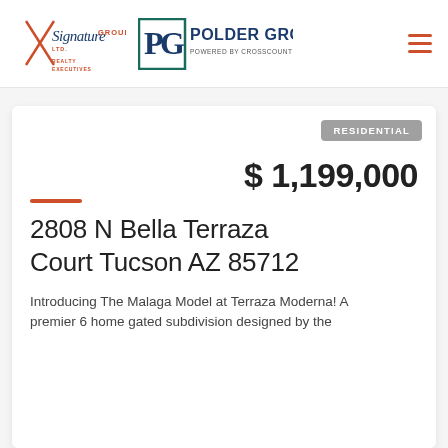[Figure (logo): Signature Group Realty Executives logo — orange and blue script with X graphic]
[Figure (logo): Polder Group Powered by CrossCountry Mortgage logo — teal border box with PG monogram]
RESIDENTIAL
$ 1,199,000
2808 N Bella Terraza Court Tucson AZ 85712
Introducing The Malaga Model at Terraza Moderna! A premier 6 home gated subdivision designed by the